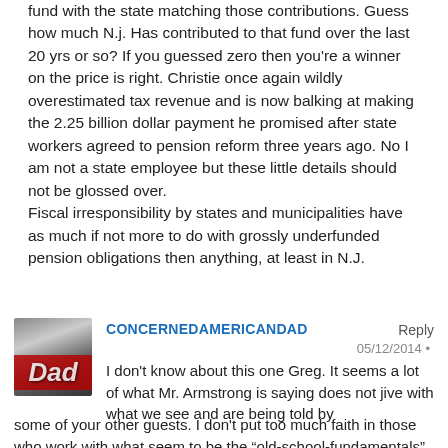fund with the state matching those contributions. Guess how much N.j. Has contributed to that fund over the last 20 yrs or so? If you guessed zero then you're a winner on the price is right. Christie once again wildly overestimated tax revenue and is now balking at making the 2.25 billion dollar payment he promised after state workers agreed to pension reform three years ago. No I am not a state employee but these little details should not be glossed over.
Fiscal irresponsibility by states and municipalities have as much if not more to do with grossly underfunded pension obligations then anything, at least in N.J.
CONCERNEDAMERICANDAD
Reply
05/12/2014 •
[Figure (photo): Avatar image showing the word Dad in stylized text on a red background]
I don't know about this one Greg. It seems a lot of what Mr. Armstrong is saying does not jive with what we see and are being told by some of your other guests. I don't put too much faith in those who work with what seem to be the "old-school-fundamentals" such as reasons for the price of Gold. For example Dr. Jim Willia...